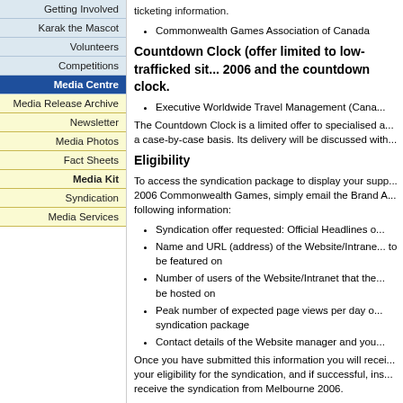Commonwealth Games Association of Canada
Countdown Clock (offer limited to low-trafficked sit... 2006 and the countdown clock.
Executive Worldwide Travel Management (Cana...
The Countdown Clock is a limited offer to specialised a... a case-by-case basis. Its delivery will be discussed with...
Eligibility
To access the syndication package to display your supp... 2006 Commonwealth Games, simply email the Brand A... following information:
Syndication offer requested: Official Headlines o...
Name and URL (address) of the Website/Intrane... to be featured on
Number of users of the Website/Intranet that the... be hosted on
Peak number of expected page views per day o... syndication package
Contact details of the Website manager and you...
Once you have submitted this information you will recei... your eligibility for the syndication, and if successful, ins... receive the syndication from Melbourne 2006.
Many organisations are currently authorised for various... may already be eligible to use the syndication offer. Ple...